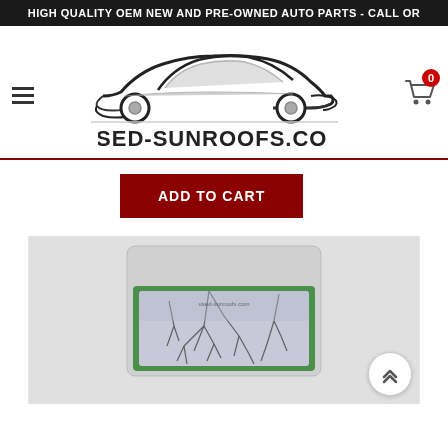HIGH QUALITY OEM NEW AND PRE-OWNED AUTO PARTS - CALL OR
[Figure (logo): Used-Sunroofs.com logo with stylized sports car silhouette above the text USED-SUNROOFS.COM]
ADD TO CART
[Figure (photo): Photo of a used sunroof glass panel with tree reflections, placed on a green surface]